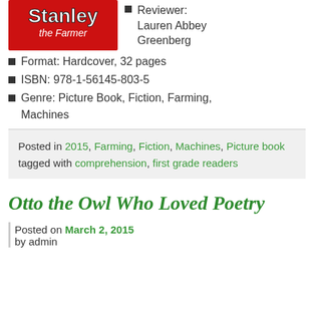[Figure (logo): Stanley the Farmer book cover logo — red background with 'Stanley the Farmer' text in white]
Reviewer: Lauren Abbey Greenberg
Format: Hardcover, 32 pages
ISBN: 978-1-56145-803-5
Genre: Picture Book, Fiction, Farming, Machines
Posted in 2015, Farming, Fiction, Machines, Picture book tagged with comprehension, first grade readers
Otto the Owl Who Loved Poetry
Posted on March 2, 2015
by admin